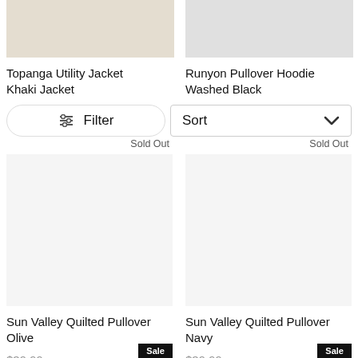[Figure (photo): Topanga Utility Jacket in Khaki, shown from front, partial crop at top]
[Figure (photo): Runyon Pullover Hoodie in Washed Black (light gray), shown folded/flat, partial crop at top]
Topanga Utility Jacket
Khaki Jacket
Runyon Pullover Hoodie
Washed Black
Filter
Sort
Sold Out
Sold Out
[Figure (photo): Sun Valley Quilted Pullover in Olive, product image]
[Figure (photo): Sun Valley Quilted Pullover in Navy, product image]
Sun Valley Quilted Pullover
Olive
Sun Valley Quilted Pullover
Navy
$39.99
$39.99
Sale
Sale